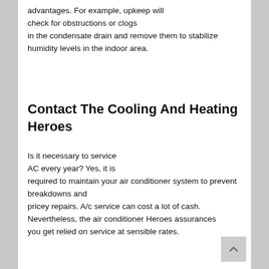advantages. For example, upkeep will check for obstructions or clogs in the condensate drain and remove them to stabilize humidity levels in the indoor area.
Contact The Cooling And Heating Heroes
Is it necessary to service AC every year? Yes, it is required to maintain your air conditioner system to prevent breakdowns and pricey repairs. A/c service can cost a lot of cash. Nevertheless, the air conditioner Heroes assurances you get relied on service at sensible rates.